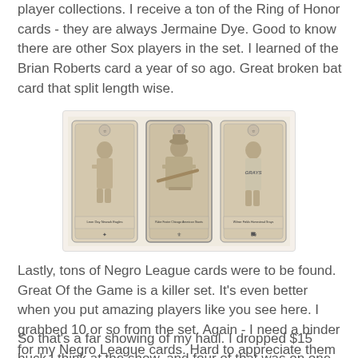player collections. I receive a ton of the Ring of Honor cards - they are always Jermaine Dye. Good to know there are other Sox players in the set. I learned of the Brian Roberts card a year of so ago. Great broken bat card that split length wise.
[Figure (photo): Three sepia-toned baseball cards shown side by side: Leon Day (Newark Eagles), Rube Foster (Chicago American Giants), and Wilmer Fields (Homestead Grays)]
Lastly, tons of Negro League cards were to be found. Great Of the Game is a killer set. It's even better when you put amazing players like you see here. I grabbed 10 or so from the set. Again - I need a binder for my Negro League cards. Hard to appreciate them when they are in a stack.
So that's a far showing of my haul. I dropped $15 buck I think at the show, and four of that was on one card. Certainly